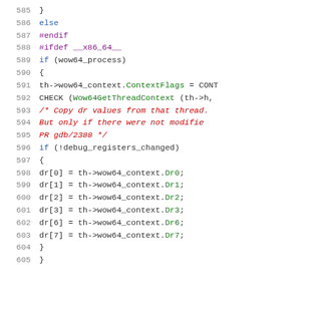[Figure (screenshot): Source code listing lines 585-605 showing C/C++ code with syntax highlighting. Line numbers in grey, keywords in blue, preprocessor directives in purple, comments in red, member names in green.]